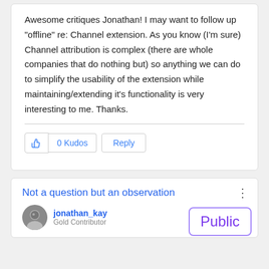Awesome critiques Jonathan! I may want to follow up "offline" re: Channel extension. As you know (I'm sure) Channel attribution is complex (there are whole companies that do nothing but) so anything we can do to simplify the usability of the extension while maintaining/extending it's functionality is very interesting to me. Thanks.
0 Kudos
Reply
Not a question but an observation
jonathan_kay
Gold Contributor
From 01-10-20
Public